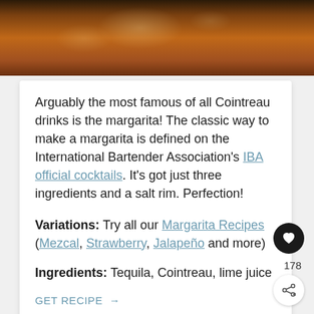[Figure (photo): Partial view of a cocktail drink with warm amber/brown tones, bokeh lighting effects]
Arguably the most famous of all Cointreau drinks is the margarita! The classic way to make a margarita is defined on the International Bartender Association's IBA official cocktails. It's got just three ingredients and a salt rim. Perfection!
Variations: Try all our Margarita Recipes (Mezcal, Strawberry, Jalapeño and more)
Ingredients: Tequila, Cointreau, lime juice
GET RECIPE →